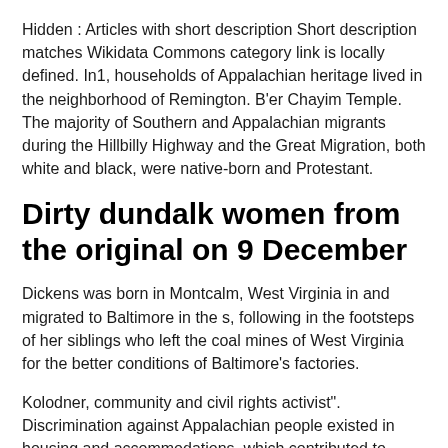Hidden : Articles with short description Short description matches Wikidata Commons category link is locally defined. In1, households of Appalachian heritage lived in the neighborhood of Remington. B'er Chayim Temple. The majority of Southern and Appalachian migrants during the Hillbilly Highway and the Great Migration, both white and black, were native-born and Protestant.
Dirty dundalk women from the original on 9 December
Dickens was born in Montcalm, West Virginia in and migrated to Baltimore in the s, following in the footsteps of her siblings who left the coal mines of West Virginia for the better conditions of Baltimore's factories.
Kolodner, community and civil rights activist". Discrimination against Appalachian people existed in housing and accommodations, which contributed to